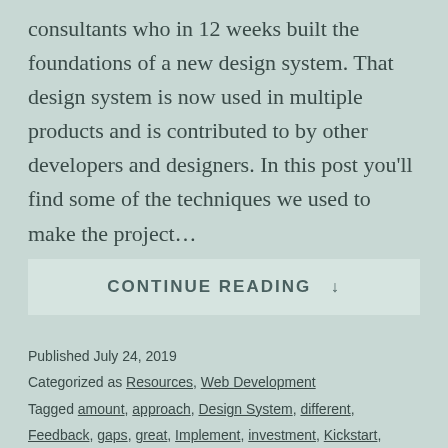consultants who in 12 weeks built the foundations of a new design system. That design system is now used in multiple products and is contributed to by other developers and designers. In this post you'll find some of the techniques we used to make the project…
CONTINUE READING ↓
Published July 24, 2019
Categorized as Resources, Web Development
Tagged amount, approach, Design System, different, Feedback, gaps, great, Implement, investment, Kickstart, month, reinvent, replacing, speed, Standard, throughout,